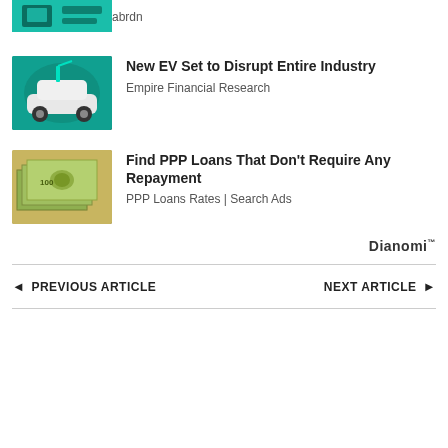[Figure (photo): Partial thumbnail of first ad item (teal/green image, possibly tech/investment related)]
abrdn
[Figure (photo): Electric vehicle being charged at a charging station, teal/green tinted image]
New EV Set to Disrupt Entire Industry
Empire Financial Research
[Figure (photo): Pile of US dollar bills, cash money image]
Find PPP Loans That Don't Require Any Repayment
PPP Loans Rates | Search Ads
Dianomi
◄ PREVIOUS ARTICLE
NEXT ARTICLE ►